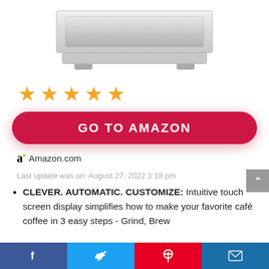[Figure (photo): Bottom portion of a stainless steel coffee machine/grinder appliance on a white background]
[Figure (other): Five gold/orange star rating icons]
GO TO AMAZON
Amazon.com
Last update was on: August 27, 2022 3:18 pm
CLEVER. AUTOMATIC. CUSTOMIZE: Intuitive touch screen display simplifies how to make your favorite café coffee in 3 easy steps - Grind, Brew and Milk in a customizable setting off
[Figure (other): Social sharing bar with Facebook, Twitter, Pinterest, and email icons]